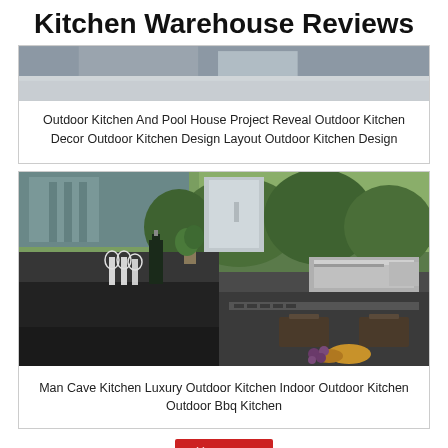Kitchen Warehouse Reviews
[Figure (photo): Top portion of an outdoor kitchen photo, cropped — gray/blue sky and countertop visible]
Outdoor Kitchen And Pool House Project Reveal Outdoor Kitchen Decor Outdoor Kitchen Design Layout Outdoor Kitchen Design
[Figure (photo): Modern dark outdoor kitchen with marble countertops, wine glasses, wine bottle, stainless steel grill and appliances, wicker chairs, trees visible through large windows, croissant and grapes on counter]
Man Cave Kitchen Luxury Outdoor Kitchen Indoor Outdoor Kitchen Outdoor Bbq Kitchen
✕ CLOSE